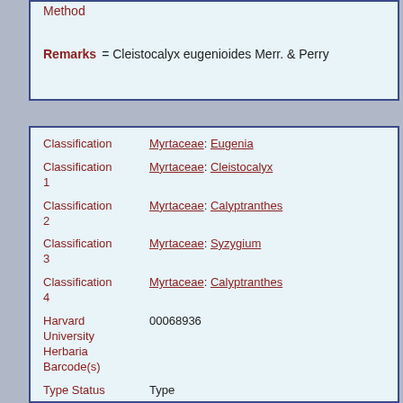Method
Remarks = Cleistocalyx eugenioides Merr. & Perry
Classification  Myrtaceae: Eugenia
Classification 1  Myrtaceae: Cleistocalyx
Classification 2  Myrtaceae: Calyptranthes
Classification 3  Myrtaceae: Syzygium
Classification 4  Myrtaceae: Calyptranthes
Harvard University Herbaria Barcode(s)  00068936
Type Status  Type
Collector  B. C. Seemann
Collector number  156